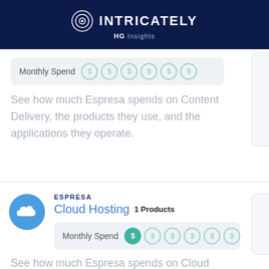INTRICATELY HG Insights
Monthly Spend
See how much Espresa spends on Content Delivery, the products they use, and the applications they operate.
ESPRESA
Cloud Hosting 1 Products
Monthly Spend
See how much Espresa spends on Cloud Hosting, the products they use,